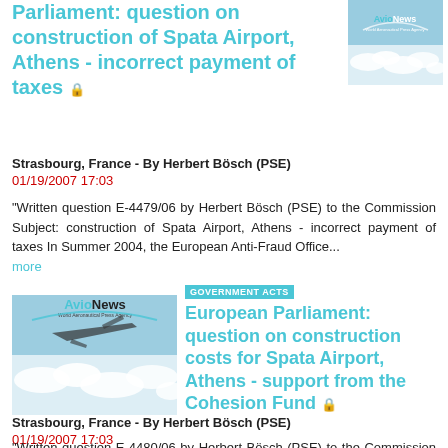Parliament: question on construction of Spata Airport, Athens - incorrect payment of taxes 🔒
[Figure (logo): AvioNews World Aeronautical Press Agency logo with clouds background]
Strasbourg, France - By Herbert Bösch (PSE)
01/19/2007 17:03
"Written question E-4479/06 by Herbert Bösch (PSE) to the Commission Subject: construction of Spata Airport, Athens - incorrect payment of taxes In Summer 2004, the European Anti-Fraud Office...
more
[Figure (logo): AvioNews World Aeronautical Press Agency logo with clouds background]
GOVERNMENT ACTS European Parliament: question on construction costs for Spata Airport, Athens - support from the Cohesion Fund 🔒
Strasbourg, France - By Herbert Bösch (PSE)
01/19/2007 17:03
"Written question E-4480/06 by Herbert Bösch (PSE) to the Commission Subject: construction costs for Spata Airport, Athens - support from the Cohesion Fund By letter of 12 October 2005